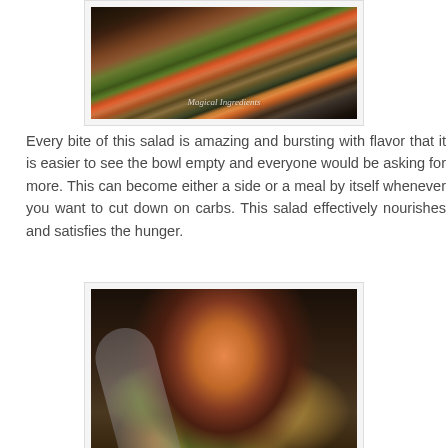[Figure (photo): Close-up photo of a colorful salad with corn, beans, carrots, greens and other vegetables in a white bowl, with 'Magical Ingredients' watermark text]
Every bite of this salad is amazing and bursting with flavor that it is easier to see the bowl empty and everyone would be asking for more. This can become either a side or a meal by itself whenever you want to cut down on carbs. This salad effectively nourishes and satisfies the hunger.
[Figure (photo): Close-up macro photo of a spoon holding a colorful salad mix with edamame, kidney beans, corn, carrots, cucumber and other vegetables against a dark background]